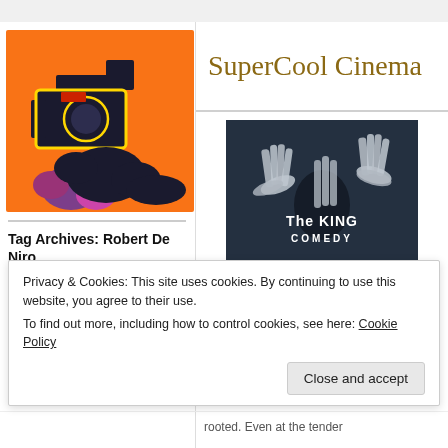[Figure (logo): SuperCool Cinema logo: stylized orange background with illustrated movie camera in black/yellow/red/purple]
SuperCool Cinema
Tag Archives: Robert De Niro
More Than Just Film
[Figure (photo): Movie poster for The King of Comedy showing hands pressed against reflective surface with text 'The KING of COMEDY']
The King of Comedy
Privacy & Cookies: This site uses cookies. By continuing to use this website, you agree to their use.
To find out more, including how to control cookies, see here: Cookie Policy
Close and accept
rooted. Even at the tender